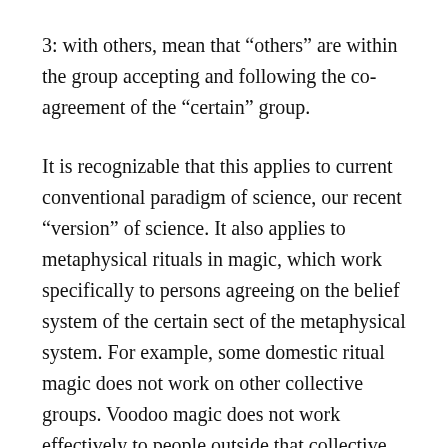3: with others, mean that “others” are within the group accepting and following the co-agreement of the “certain” group.
It is recognizable that this applies to current conventional paradigm of science, our recent “version” of science. It also applies to metaphysical rituals in magic, which work specifically to persons agreeing on the belief system of the certain sect of the metaphysical system. For example, some domestic ritual magic does not work on other collective groups. Voodoo magic does not work effectively to people outside that collective group.